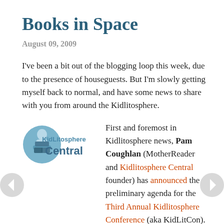Books in Space
August 09, 2009
I've been a bit out of the blogging loop this week, due to the presence of houseguests. But I'm slowly getting myself back to normal, and have some news to share with you from around the Kidlitosphere.
[Figure (logo): KidLitosphere Central logo — blue circle with reading figure and text 'KidLitosphere Central']
First and foremost in Kidlitosphere news, Pam Coughlan (MotherReader and Kidlitosphere Central founder) has announced the preliminary agenda for the Third Annual Kidlitosphere Conference (aka KidLitCon). A registration form is now available with full details. If you blog about